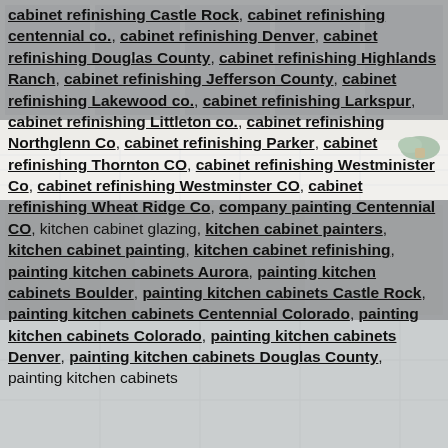cabinet refinishing Castle Rock, cabinet refinishing centennial co., cabinet refinishing Denver, cabinet refinishing Douglas County, cabinet refinishing Highlands Ranch, cabinet refinishing Jefferson County, cabinet refinishing Lakewood co., cabinet refinishing Larkspur, cabinet refinishing Littleton co., cabinet refinishing Northglenn Co, cabinet refinishing Parker, cabinet refinishing Thornton CO, cabinet refinishing Westminister Co, cabinet refinishing Westminster CO, cabinet refinishing Wheat Ridge Co, company painting Centennial CO, kitchen cabinet glazing, kitchen cabinet painters, kitchen cabinet painting, kitchen cabinet refinishing, painting kitchen cabinets Aurora, painting kitchen cabinets Boulder, painting kitchen cabinets Castle Rock, painting kitchen cabinets Centennial Colorado, painting kitchen cabinets Colorado, painting kitchen cabinets Denver, painting kitchen cabinets Douglas County, painting kitchen cabinets